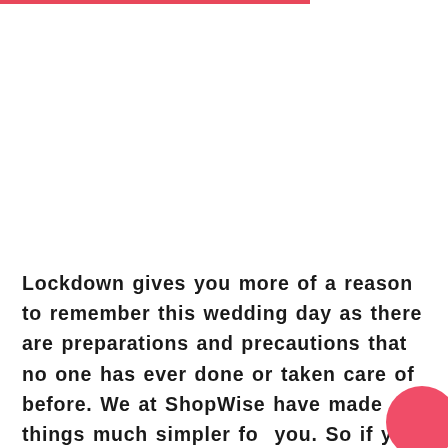Lockdown gives you more of a reason to remember this wedding day as there are preparations and precautions that no one has ever done or taken care of before. We at ShopWise have made things much simpler for you. So if you want to wander in stress about